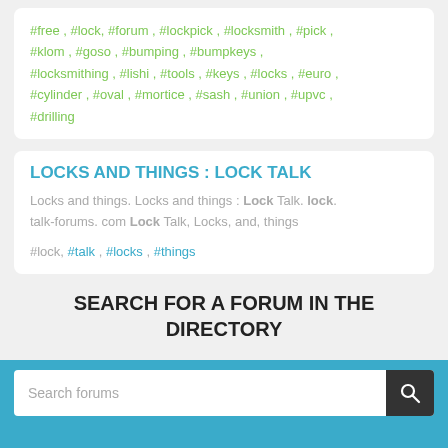#free , #lock, #forum , #lockpick , #locksmith , #pick , #klom , #goso , #bumping , #bumpkeys , #locksmithing , #lishi , #tools , #keys , #locks , #euro , #cylinder , #oval , #mortice , #sash , #union , #upvc , #drilling
LOCKS AND THINGS : LOCK TALK
Locks and things. Locks and things : Lock Talk. lock. lock-talk-forums. com Lock Talk, Locks, and, things
#lock, #talk , #locks , #things
SEARCH FOR A FORUM IN THE DIRECTORY
Search forums